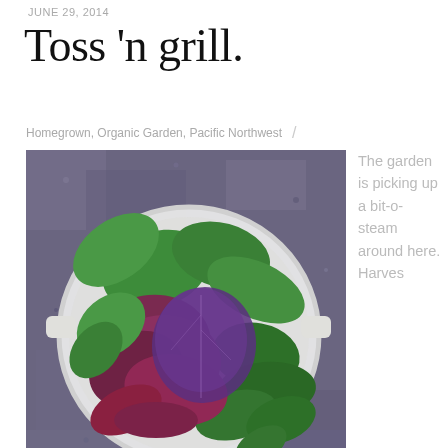JUNE 29, 2014
Toss 'n grill.
Homegrown, Organic Garden, Pacific Northwest /
[Figure (photo): A white colander filled with fresh mixed salad greens including green lettuce, red/purple leaves, and spinach, photographed from above on a stone/granite surface.]
The garden is picking up a bit-o-steam around here. Harves